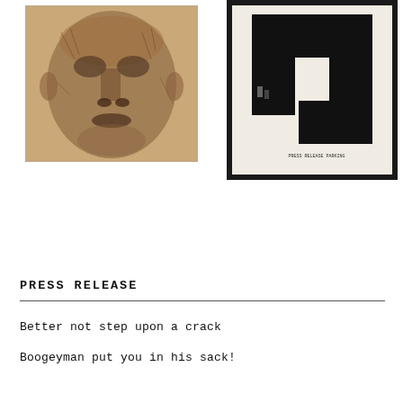[Figure (photo): Close-up photograph of a sculpted human face, textured with brown fibrous material, showing detailed facial features including eyes, nose, and mouth]
[Figure (photo): Framed artwork showing an abstract black geometric shape on a white background, with small figurines visible, text at bottom reads 'PRESS RELEASE PARKING']
PRESS RELEASE
Better not step upon a crack
Boogeyman put you in his sack!